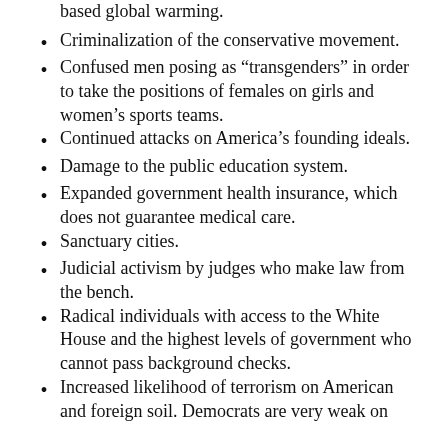based global warming.
Criminalization of the conservative movement.
Confused men posing as “transgenders” in order to take the positions of females on girls and women’s sports teams.
Continued attacks on America’s founding ideals.
Damage to the public education system.
Expanded government health insurance, which does not guarantee medical care.
Sanctuary cities.
Judicial activism by judges who make law from the bench.
Radical individuals with access to the White House and the highest levels of government who cannot pass background checks.
Increased likelihood of terrorism on American and foreign soil. Democrats are very weak on